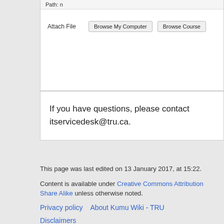[Figure (screenshot): Partial screenshot of a web form showing 'Path: n' field and 'Attach File' section with 'Browse My Computer' and 'Browse Course' buttons]
If you have questions, please contact itservicedesk@tru.ca.
This page was last edited on 13 January 2017, at 15:22.
Content is available under Creative Commons Attribution Share Alike unless otherwise noted.
Privacy policy    About Kumu Wiki - TRU
Disclaimers
[Figure (logo): Creative Commons Attribution Share Alike icon]
[Figure (logo): Powered by MediaWiki logo]